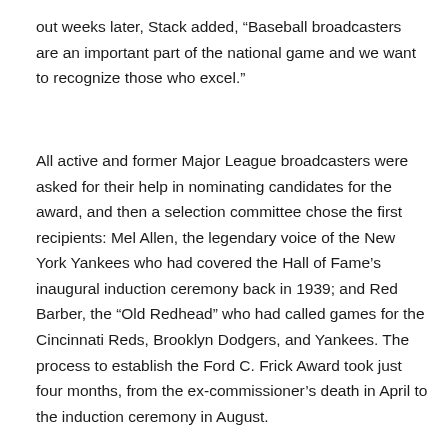out weeks later, Stack added, “Baseball broadcasters are an important part of the national game and we want to recognize those who excel.”
All active and former Major League broadcasters were asked for their help in nominating candidates for the award, and then a selection committee chose the first recipients: Mel Allen, the legendary voice of the New York Yankees who had covered the Hall of Fame’s inaugural induction ceremony back in 1939; and Red Barber, the “Old Redhead” who had called games for the Cincinnati Reds, Brooklyn Dodgers, and Yankees. The process to establish the Ford C. Frick Award took just four months, from the ex-commissioner’s death in April to the induction ceremony in August.